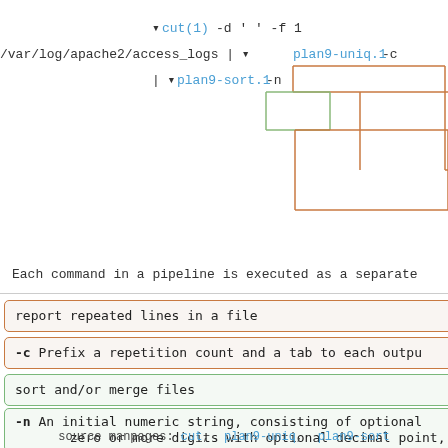[Figure (flowchart): Pipeline diagram showing: cut(1) -d ' ' -f 1 /var/log/apache2/access_logs | plan9-uniq.1 -c | plan9-sort.1 -n with colored bracket annotations connecting commands]
Each command in a pipeline is executed as a separate
report repeated lines in a file
-c      Prefix a repetition count and a tab to each outpu
sort and/or merge files
-n      An initial numeric string, consisting of optional zero or more digits with optional decimal point,
source manpages: cut,  plan9-uniq,  plan9-sort